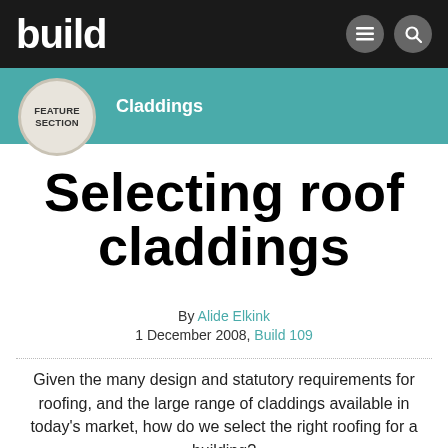build
Feature Section — Claddings
Selecting roof claddings
By Alide Elkink
1 December 2008, Build 109
Given the many design and statutory requirements for roofing, and the large range of claddings available in today's market, how do we select the right roofing for a building?